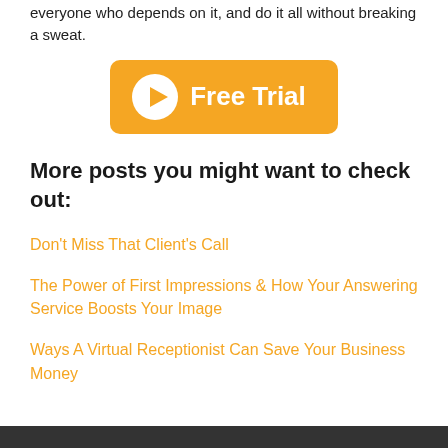everyone who depends on it, and do it all without breaking a sweat.
[Figure (other): Orange rounded button with play icon and text 'Free Trial']
More posts you might want to check out:
Don't Miss That Client's Call
The Power of First Impressions & How Your Answering Service Boosts Your Image
Ways A Virtual Receptionist Can Save Your Business Money